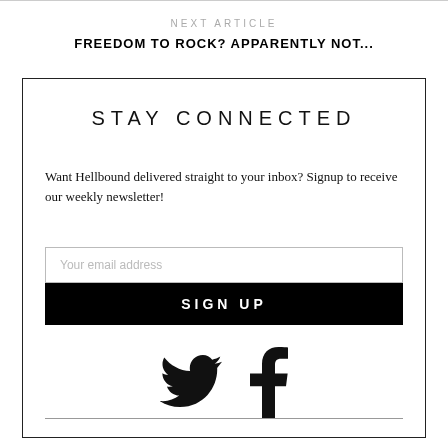NEXT ARTICLE
FREEDOM TO ROCK? APPARENTLY NOT...
STAY CONNECTED
Want Hellbound delivered straight to your inbox? Signup to receive our weekly newsletter!
Your email address
SIGN UP
[Figure (illustration): Twitter bird icon and Facebook 'f' icon side by side]